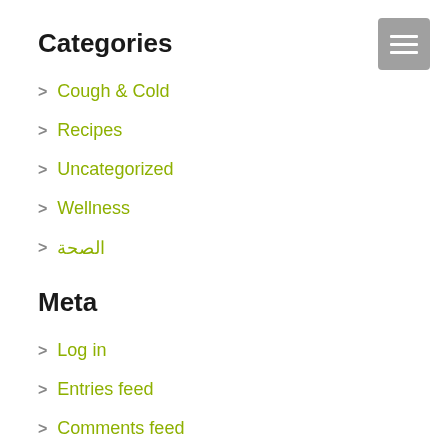Categories
Cough & Cold
Recipes
Uncategorized
Wellness
الصحة
Meta
Log in
Entries feed
Comments feed
WordPress.org